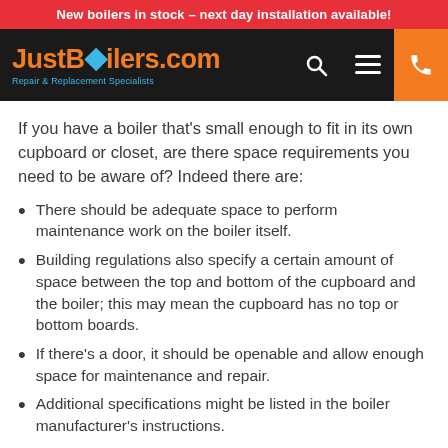New boilers in stock – next day installation available!
[Figure (logo): JustBoilers.com logo with tagline Repair & Replacement Specialists on dark navbar with search, menu and phone icons]
If you have a boiler that's small enough to fit in its own cupboard or closet, are there space requirements you need to be aware of? Indeed there are:
There should be adequate space to perform maintenance work on the boiler itself.
Building regulations also specify a certain amount of space between the top and bottom of the cupboard and the boiler; this may mean the cupboard has no top or bottom boards.
If there's a door, it should be openable and allow enough space for maintenance and repair.
Additional specifications might be listed in the boiler manufacturer's instructions.